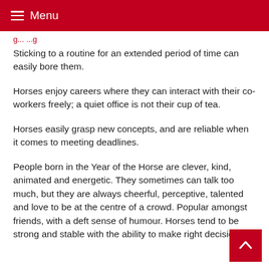Menu
Sticking to a routine for an extended period of time can easily bore them.
Horses enjoy careers where they can interact with their co-workers freely; a quiet office is not their cup of tea.
Horses easily grasp new concepts, and are reliable when it comes to meeting deadlines.
People born in the Year of the Horse are clever, kind, animated and energetic. They sometimes can talk too much, but they are always cheerful, perceptive, talented and love to be at the centre of a crowd. Popular amongst friends, with a deft sense of humour. Horses tend to be strong and stable with the ability to make right decisions.